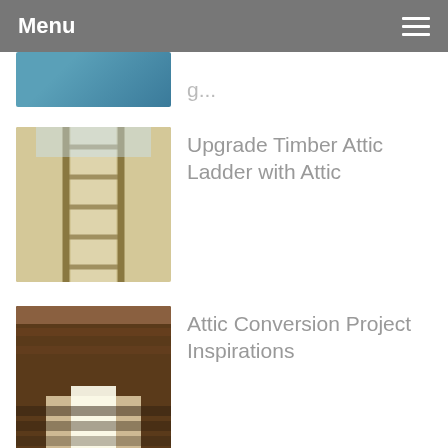Menu
Upgrade Timber Attic Ladder with Attic
Attic Conversion Project Inspirations
Skylights to Transform Your Home from
Attic Conversions - Home Offices by